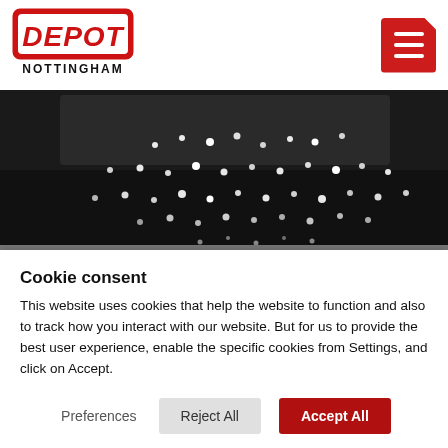[Figure (logo): Depot Nottingham logo — red graffiti-style text 'DEPOT' with 'NOTTINGHAM' below in black stencil letters]
[Figure (other): Red hamburger menu icon button with three white horizontal bars and a folded corner]
[Figure (photo): Dark ceiling with white dot lights on top half; lower half shows a climbing wall with coloured holds]
Cookie consent
This website uses cookies that help the website to function and also to track how you interact with our website. But for us to provide the best user experience, enable the specific cookies from Settings, and click on Accept.
Preferences   Reject All   Accept All